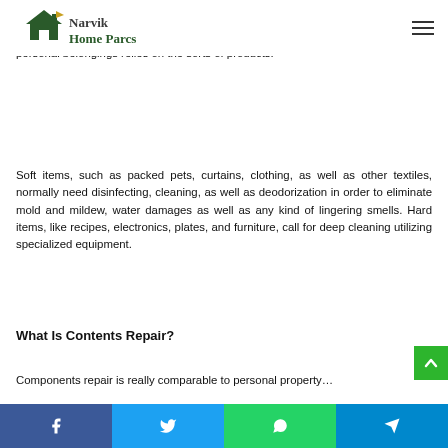Narvik Home Parcs
n others to get rid of, such as wall-to-wall … will require to stay in your home as well as be cleaned on-site. The precise procedure of cleaning and recovering your personal belongings relies on the sorts of products.
Soft items, such as packed pets, curtains, clothing, as well as other textiles, normally need disinfecting, cleaning, as well as deodorization in order to eliminate mold and mildew, water damages as well as any kind of lingering smells. Hard items, like recipes, electronics, plates, and furniture, call for deep cleaning utilizing specialized equipment.
What Is Contents Repair?
Components repair is really comparable to personal property…